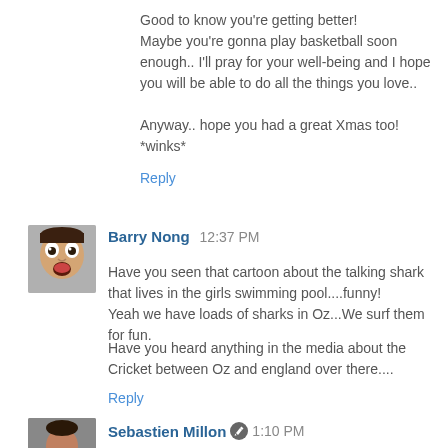Good to know you're getting better!
Maybe you're gonna play basketball soon enough.. I'll pray for your well-being and I hope you will be able to do all the things you love..

Anyway.. hope you had a great Xmas too! *winks*
Reply
[Figure (photo): Avatar photo of Barry Nong showing a person with wide eyes and open mouth expression]
Barry Nong  12:37 PM
Have you seen that cartoon about the talking shark that lives in the girls swimming pool....funny!
Yeah we have loads of sharks in Oz...We surf them for fun.

Have you heard anything in the media about the Cricket between Oz and england over there....
Reply
[Figure (photo): Avatar photo of Sebastien Millon]
Sebastien Millon  1:10 PM